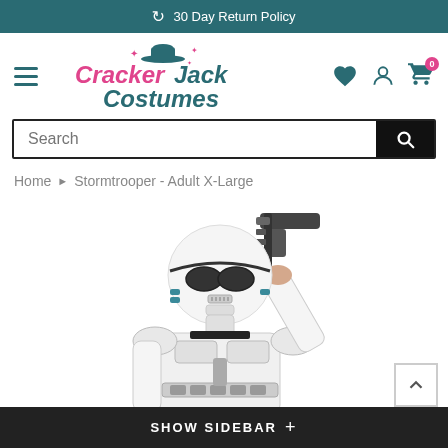30 Day Return Policy
[Figure (logo): CrackerJack Costumes logo with pink hat illustration, navigation hamburger menu, and icons for wishlist, account, and cart (0 items)]
Search
Home › Stormtrooper - Adult X-Large
[Figure (photo): Person in a Stormtrooper costume holding a blaster rifle, wearing white armor and helmet with black detailing]
SHOW SIDEBAR +